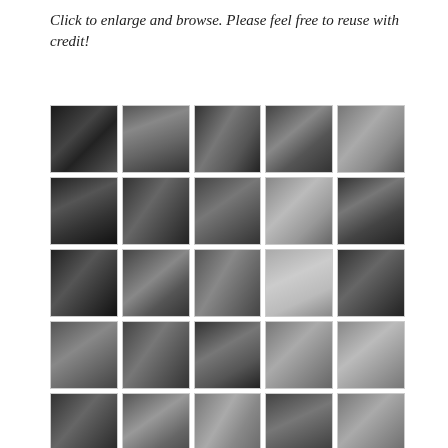Click to enlarge and browse. Please feel free to reuse with credit!
[Figure (photo): A 5x5 grid of black-and-white movie still thumbnails from the film 'Cynara' starring Ronald Colman and Kay Francis. The thumbnails include a movie poster, portraits, and scenes from the film.]